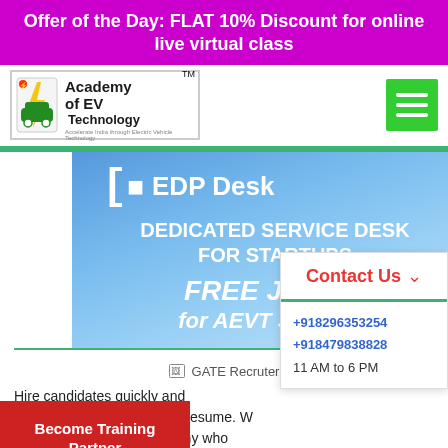Offer of the Day: FLAT 10% Discount for online live virtual class
[Figure (logo): Academy of EV Technology (AEVT) logo with electric vehicle icon]
[Figure (infographic): EDP Desk - Dedicated Service Desk for Startups. FREE Joining for AEVT Students. Blue gradient banner with white bracket logo and bold text.]
Contact Us
+918296353254
+918479838828
11 AM to 6 PM
[Figure (photo): GATE Recruter image (broken/placeholder)]
Hire candidates quickly and Post Your Job and Search Resume. W Direct Hire, where a company who intends to hire a
Become Training Partner